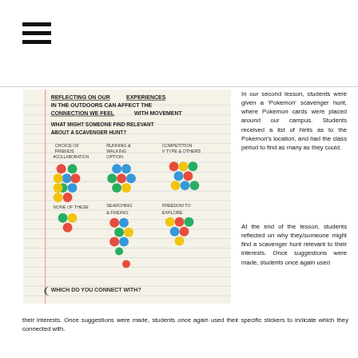[Figure (other): Hamburger/menu icon with three horizontal bars]
[Figure (photo): Photograph of a hand-written poster on lined paper reading 'Reflecting on our Experiences in the Outdoors Can Affect the Connection We Feel With Movement. What might someone find relevant about a scavenger hunt?' with colored dot stickers grouped under categories: Choice of Friends #collaboration, Running & Walking Option, Competition v type & others, None of these, Searching & Finding, Freedom to Explore. Bottom reads 'Which do you connect with?']
In our second lesson, students were given a 'Pokemon' scavenger hunt, where Pokemon cards were placed around our campus. Students received a list of hints as to the Pokemon's location, and had the class period to find as many as they could.
At the end of the lesson, students reflected on why they/someone might find a scavenger hunt relevant to their interests. Once suggestions were made, students once again used their specific stickers to indicate which they connected with.